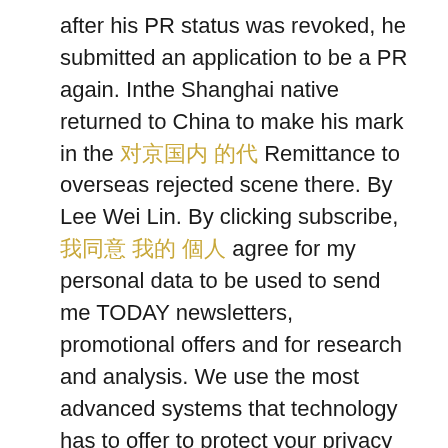after his PR status was revoked, he submitted an application to be a PR again. Inthe Shanghai native returned to China to make his mark in the [CJK chars] Remittance to overseas rejected scene there. By Lee Wei Lin. By clicking subscribe, [CJK chars] agree for my personal data to be used to send me TODAY newsletters, promotional offers and for research and analysis. We use the most advanced systems that technology has to offer to protect your privacy and money. Welcome to The Points Guy! If you have relatives living in Singapore, then you stand a better chance of having your PR application approved. All we can suggest is to give it a chance. Why SingX? You can also submit a reconsideration request through the application website. Responses have not been reviewed, approved or otherwise endorsed by the bank advertiser. This compensation may impact how and